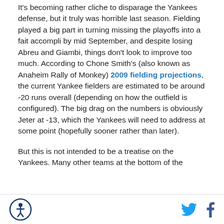It's becoming rather cliche to disparage the Yankees defense, but it truly was horrible last season. Fielding played a big part in turning missing the playoffs into a fait accompli by mid September, and despite losing Abreu and Giambi, things don't look to improve too much. According to Chone Smith's (also known as Anaheim Rally of Monkey) 2009 fielding projections, the current Yankee fielders are estimated to be around -20 runs overall (depending on how the outfield is configured). The big drag on the numbers is obviously Jeter at -13, which the Yankees will need to address at some point (hopefully sooner rather than later).
But this is not intended to be a treatise on the Yankees. Many other teams at the bottom of the
[logo] [twitter] [facebook]